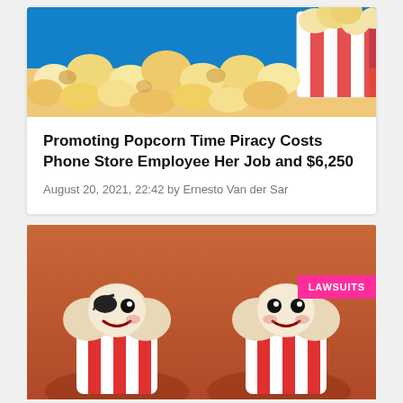[Figure (photo): Hero image of popcorn spilling out of a striped red and white bucket against a blue sky background]
Promoting Popcorn Time Piracy Costs Phone Store Employee Her Job and $6,250
August 20, 2021, 22:42 by Ernesto Van der Sar
[Figure (photo): Two cartoon popcorn characters in red and white striped cups sitting in cinema seats. Left character wears a pirate eye patch. A pink 'LAWSUITS' badge appears in the top right corner.]